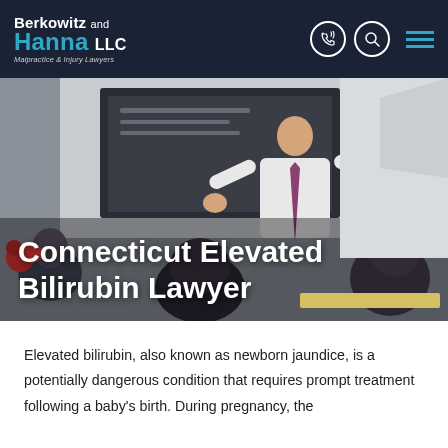Berkowitz and Hanna LLC — Malpractice & Injury Lawyers
[Figure (photo): A man in a white shirt and purple tie standing in front of a presentation screen, speaking to a seated audience in a conference or classroom setting. The photo spans the full width of the page below the header.]
Connecticut Elevated Bilirubin Lawyer
Elevated bilirubin, also known as newborn jaundice, is a potentially dangerous condition that requires prompt treatment following a baby's birth. During pregnancy, the